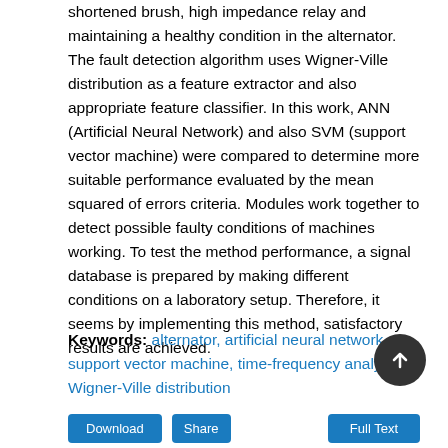shortened brush, high impedance relay and maintaining a healthy condition in the alternator. The fault detection algorithm uses Wigner-Ville distribution as a feature extractor and also appropriate feature classifier. In this work, ANN (Artificial Neural Network) and also SVM (support vector machine) were compared to determine more suitable performance evaluated by the mean squared of errors criteria. Modules work together to detect possible faulty conditions of machines working. To test the method performance, a signal database is prepared by making different conditions on a laboratory setup. Therefore, it seems by implementing this method, satisfactory results are achieved.
Keywords: alternator, artificial neural network, support vector machine, time-frequency analysis, Wigner-Ville distribution